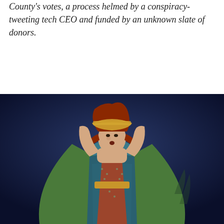County's votes, a process helmed by a conspiracy-tweeting tech CEO and funded by an unknown slate of donors.
[Figure (illustration): A classical oil painting of a woman with red hair, wearing an ornate blue and green robe with gold accents, holding a decorative bowl above her head with both arms raised.]